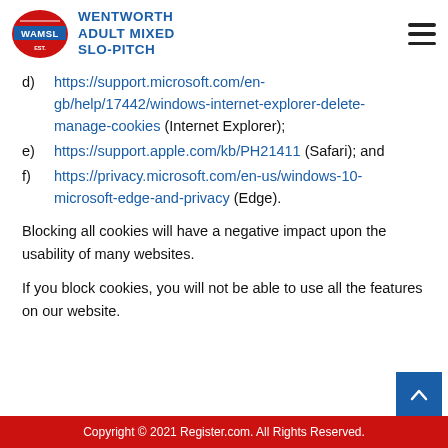WENTWORTH ADULT MIXED SLO-PITCH (WAMSL logo)
d) https://support.microsoft.com/en-gb/help/17442/windows-internet-explorer-delete-manage-cookies (Internet Explorer);
e) https://support.apple.com/kb/PH21411 (Safari); and
f) https://privacy.microsoft.com/en-us/windows-10-microsoft-edge-and-privacy (Edge).
Blocking all cookies will have a negative impact upon the usability of many websites.
If you block cookies, you will not be able to use all the features on our website.
Copyright © 2021 Register.com. All Rights Reserved.